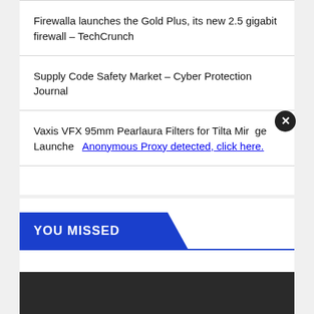Firewalla launches the Gold Plus, its new 2.5 gigabit firewall – TechCrunch
Supply Code Safety Market – Cyber Protection Journal
Vaxis VFX 95mm Pearlaura Filters for Tilta Mirage Launched Anonymous Proxy detected, click here.
YOU MISSED